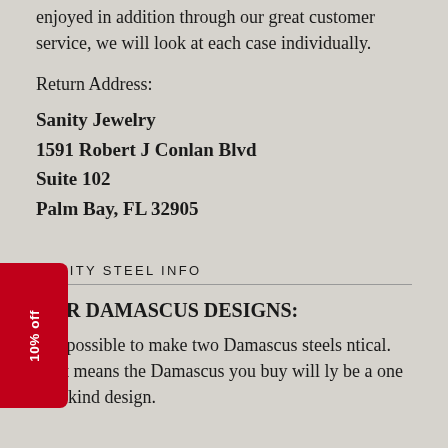enjoyed in addition through our great customer service, we will look at each case individually.
Return Address:
Sanity Jewelry
1591 Robert J Conlan Blvd
Suite 102
Palm Bay, FL 32905
SANITY STEEL INFO
OUR DAMASCUS DESIGNS:
s impossible to make two Damascus steels ntical. That means the Damascus you buy will ly be a one of a kind design.